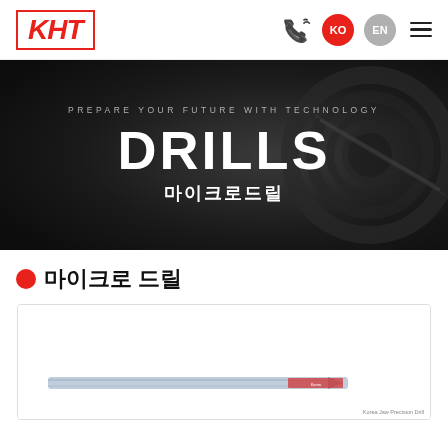[Figure (logo): KHT logo in red italic bold text inside a red border rectangle]
[Figure (screenshot): Navigation header with phone icon, KO (red circle), EN (gray circle) language buttons, and hamburger menu]
[Figure (photo): Dark hero banner with drill bit machinery background. Text: PREPARE YOUR FUTURE WITH TECHNOLOGY, DRILLS, 마이크로드릴]
마이크로 드릴
[Figure (photo): Product card showing a micro drill bit tool on white background]